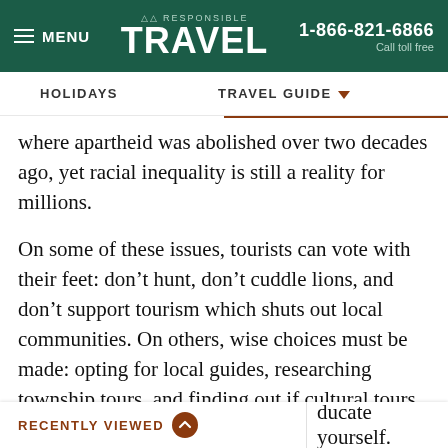MENU | RESPONSIBLE TRAVEL | 1-866-821-6866 Call toll free
HOLIDAYS | TRAVEL GUIDE
where apartheid was abolished over two decades ago, yet racial inequality is still a reality for millions.
On some of these issues, tourists can vote with their feet: don’t hunt, don’t cuddle lions, and don’t support tourism which shuts out local communities. On others, wise choices must be made: opting for local guides, researching township tours, and finding out if cultural tours really do benefit their indigenous protagonists.
RECENTLY VIEWED ⬆ | …ducate yourself.